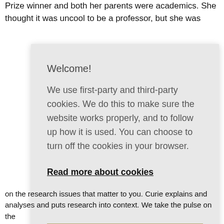Prize winner and both her parents were academics. She thought it was uncool to be a professor, but she was
Welcome!
We use first-party and third-party cookies. We do this to make sure the website works properly, and to follow up how it is used. You can choose to turn off the cookies in your browser.
Read more about cookies
I understand
on the research issues that matter to you. Curie explains and analyses and puts research into context. We take the pulse on the